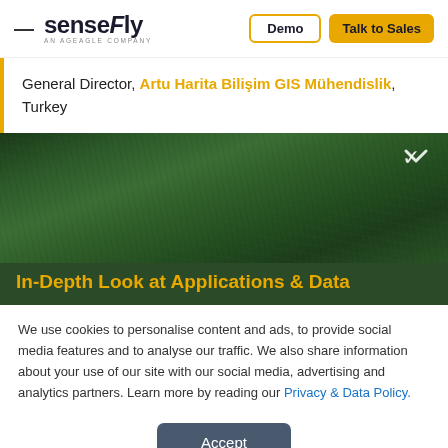senseFly AN AGEAGLE COMPANY | Demo | Talk to Sales
General Director, Artu Harita Bilişim GIS Mühendislik, Turkey
[Figure (photo): Dark green aerial view of grass/agricultural field used as banner background]
In-Depth Look at Applications & Data
We use cookies to personalise content and ads, to provide social media features and to analyse our traffic. We also share information about your use of our site with our social media, advertising and analytics partners. Learn more by reading our Privacy & Data Policy.
Accept